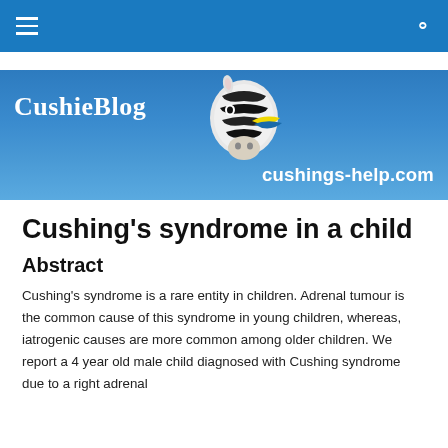CushieBlog | cushings-help.com
[Figure (logo): CushieBlog banner with zebra logo and cushings-help.com text on blue gradient background]
Cushing’s syndrome in a child
Abstract
Cushing’s syndrome is a rare entity in children. Adrenal tumour is the common cause of this syndrome in young children, whereas, iatrogenic causes are more common among older children. We report a 4 year old male child diagnosed with Cushing syndrome due to a right adrenal